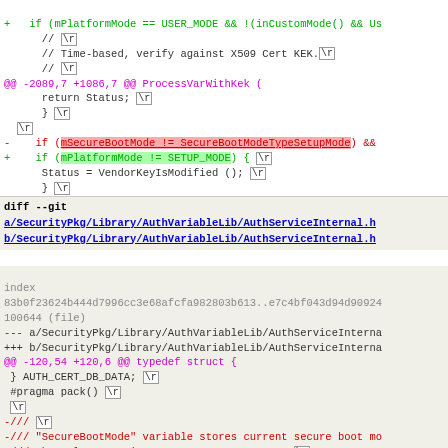[Figure (screenshot): Code diff view showing changes to UEFI/EDK2 source files. Top portion shows diff in SecureAuthVar.c with removal of mSecureBootMode check and addition of mPlatformMode check. Bottom portion shows diff header for AuthServiceInternal.h with removal of SecureBootMode variable definition and EDKII_SECURE_BOOT_MODE_NAME macro.]
diff --git a/SecurityPkg/Library/AuthVariableLib/AuthServiceInternal.h b/SecurityPkg/Library/AuthVariableLib/AuthServiceInternal.h
@@ -120,54 +120,6 @@ typedef struct {
 } AUTH_CERT_DB_DATA; \r
 #pragma pack() \r
 \r
 -/// \r
 -/// "SecureBootMode" variable stores current secure boot mode
 -/// The value type is SECURE_BOOT_MODE_TYPE. \r
 -/// \r
 -#define EDKII_SECURE_BOOT_MODE_NAME    L"SecureBootMode" \r
 -\r